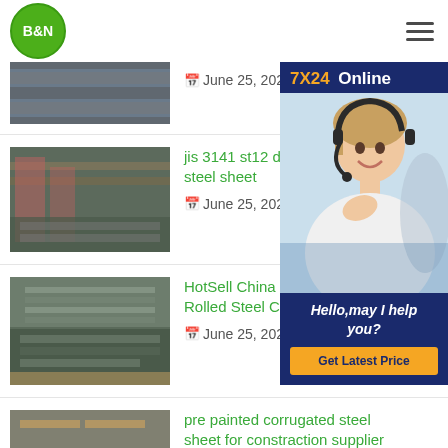B&N
[Figure (photo): Thumbnail of steel sheets/coils - partial view at top]
June 25, 2021
[Figure (photo): Thumbnail of steel manufacturing facility interior]
jis 3141 st12 dc01 cold rolled steel sheet
June 25, 2021
[Figure (photo): Thumbnail of rolled steel coil sheets in warehouse]
HotSell China Standard Hot Rolled Steel Coil Sheet
June 25, 2021
[Figure (photo): Thumbnail of corrugated steel sheet products]
pre painted corrugated steel sheet for constraction supplier
[Figure (photo): Customer service representative with headset - 7X24 Online sidebar widget]
Hello,may I help you?
Get Latest Price